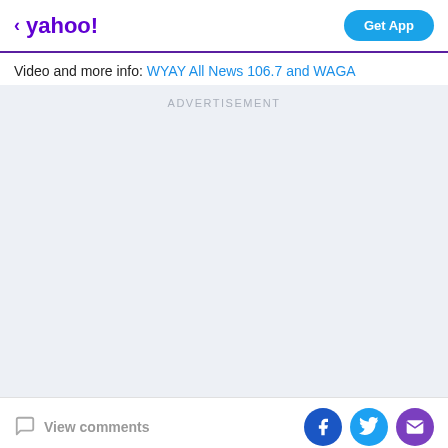< yahoo! | Get App
Video and more info: WYAY All News 106.7 and WAGA
[Figure (other): Advertisement placeholder area with light gray background and 'ADVERTISEMENT' label]
View comments | Facebook share | Twitter share | Email share